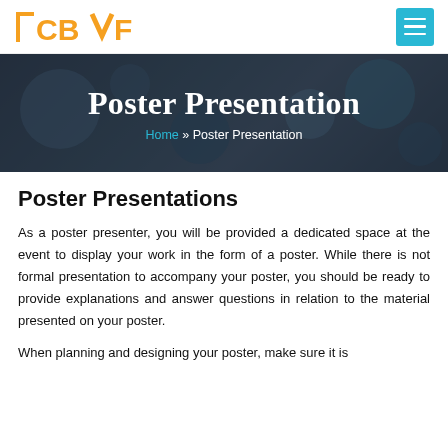ICBMF [logo] | menu button
[Figure (photo): Hero banner with blurry crowd/conference audience background, dark overlay, showing title 'Poster Presentation' and breadcrumb navigation 'Home » Poster Presentation']
Poster Presentation
Home » Poster Presentation
Poster Presentations
As a poster presenter, you will be provided a dedicated space at the event to display your work in the form of a poster. While there is not formal presentation to accompany your poster, you should be ready to provide explanations and answer questions in relation to the material presented on your poster.
When planning and designing your poster, make sure it is